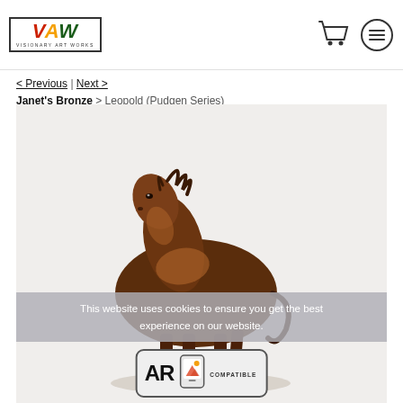VAW Visionary Art Works header with cart and menu icons
< Previous | Next > Janet's Bronze > Leopold (Pudgen Series)
[Figure (photo): Bronze horse sculpture (Leopold, Pudgen Series) by Janet's Bronze, shown against a light background. The sculpture depicts a standing horse with detailed mane and copper-brown patina.]
This website uses cookies to ensure you get the best experience on our website.
[Figure (logo): AR Compatible badge with AR text and mobile phone with mountain image icon]